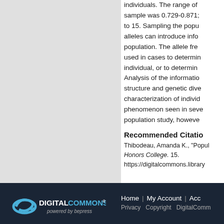individuals. The range of heterozygosity in the sample was 0.729-0.871; the number of alleles was 2 to 15. Sampling the population for rare alleles can introduce information about a population. The allele frequencies obtained can be used in cases to determine the identity of an individual, or to determine family relationships. Analysis of the information gathered for population structure and genetic diversity can also enable characterization of individuals. This is a phenomenon seen in several populations in this population study, however...
Recommended Citation
Thibodeau, Amanda K., "Population... Honors College. 15. https://digitalcommons.library...
[Figure (logo): Digital Commons powered by bepress logo]
Home | My Account | Acc... Privacy  Copyright  DigitalComm...